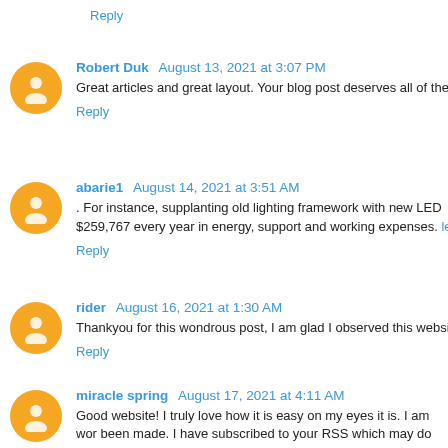Reply
Robert Duk  August 13, 2021 at 3:07 PM
Great articles and great layout. Your blog post deserves all of the
Reply
abarie1  August 14, 2021 at 3:51 AM
. For instance, supplanting old lighting framework with new LED $259,767 every year in energy, support and working expenses. le
Reply
rider  August 16, 2021 at 1:30 AM
Thankyou for this wondrous post, I am glad I observed this websit
Reply
miracle spring  August 17, 2021 at 4:11 AM
Good website! I truly love how it is easy on my eyes it is. I am wor been made. I have subscribed to your RSS which may do the trick